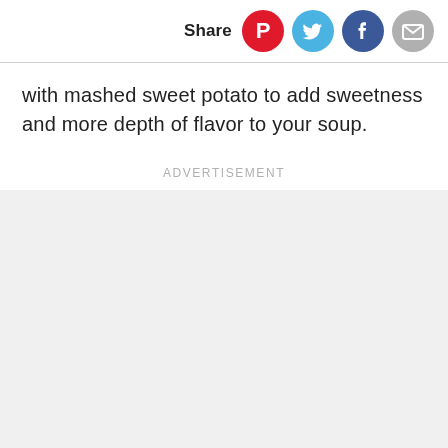Share
with mashed sweet potato to add sweetness and more depth of flavor to your soup.
Advertisement